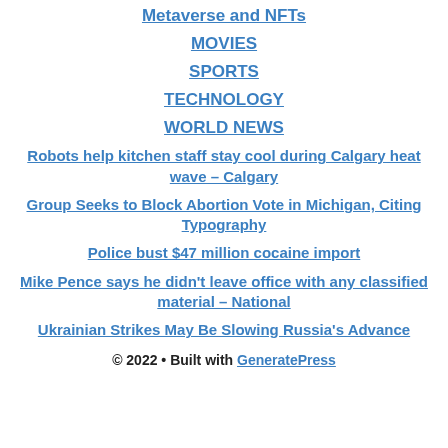Metaverse and NFTs
MOVIES
SPORTS
TECHNOLOGY
WORLD NEWS
Robots help kitchen staff stay cool during Calgary heat wave – Calgary
Group Seeks to Block Abortion Vote in Michigan, Citing Typography
Police bust $47 million cocaine import
Mike Pence says he didn't leave office with any classified material – National
Ukrainian Strikes May Be Slowing Russia's Advance
© 2022 • Built with GeneratePress